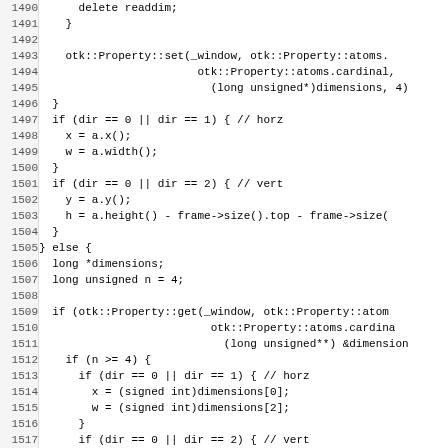Source code listing, lines 1490-1522, C++ code for window property handling